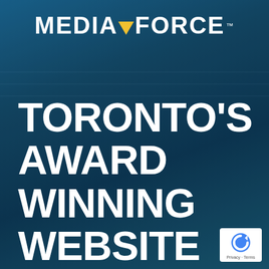[Figure (logo): MediaForce logo: white bold text MEDIA, yellow downward triangle, white bold text FORCE with TM superscript, on dark blue background]
TORONTO'S AWARD WINNING WEBSITE DESIGN AGENCY
[Figure (logo): Google reCAPTCHA badge in bottom right corner, white rounded rectangle with reCAPTCHA icon and 'Privacy · Terms' text]